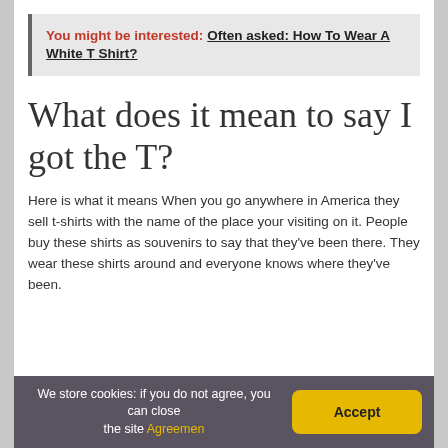You might be interested: Often asked: How To Wear A White T Shirt?
What does it mean to say I got the T?
Here is what it means When you go anywhere in America they sell t-shirts with the name of the place your visiting on it. People buy these shirts as souvenirs to say that they've been there. They wear these shirts around and everyone knows where they've been.
We store cookies: if you do not agree, you can close the site Agreemen